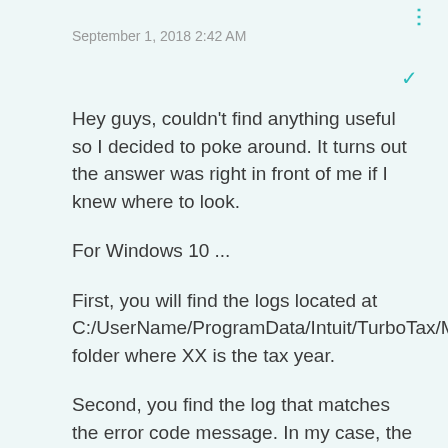September 1, 2018 2:42 AM
Hey guys, couldn't find anything useful so I decided to poke around. It turns out the answer was right in front of me if I knew where to look.
For Windows 10 ...
First, you will find the logs located at C:/UserName/ProgramData/Intuit/TurboTax/MSI/TY/XX/Logs folder where XX is the tax year.
Second, you find the log that matches the error code message. In my case, the message referred to "WinPerRelease.MSI."